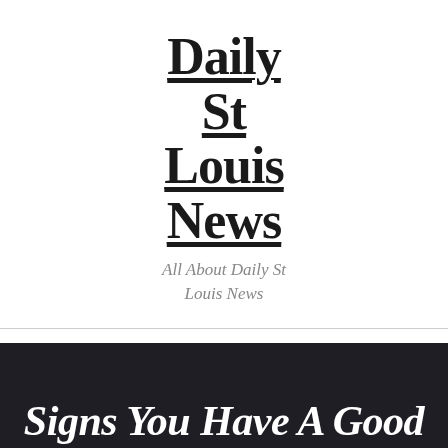Daily St Louis News
All About Daily St Louis News
Architecture   Food And Drinks   Home Services   Lifestyle   News   Visit
Signs You Have A Good